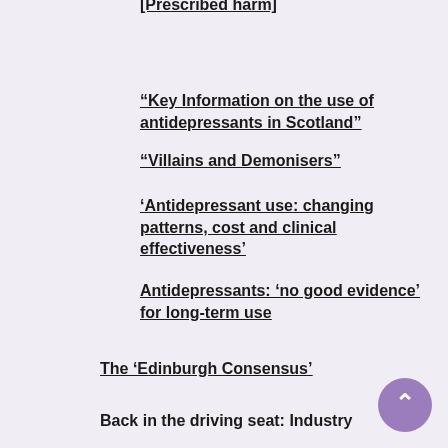[Prescribed harm]
“Key Information on the use of antidepressants in Scotland”
“Villains and Demonisers”
‘Antidepressant use: changing patterns, cost and clinical effectiveness’
Antidepressants: ‘no good evidence’ for long-term use
The ‘Edinburgh Consensus’
Back in the driving seat: Industry